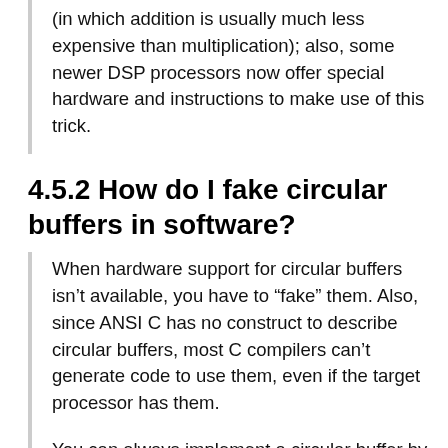(in which addition is usually much less expensive than multiplication); also, some newer DSP processors now offer special hardware and instructions to make use of this trick.
4.5.2 How do I fake circular buffers in software?
When hardware support for circular buffers isn't available, you have to “fake” them. Also, since ANSI C has no construct to describe circular buffers, most C compilers can't generate code to use them, even if the target processor has them.
You can always implement a circular buffer by duplicating the logic of a circular buffer in software (and many have), but the overhead can be prohibitive; the circular-fake might take several instructions to implement, compared to